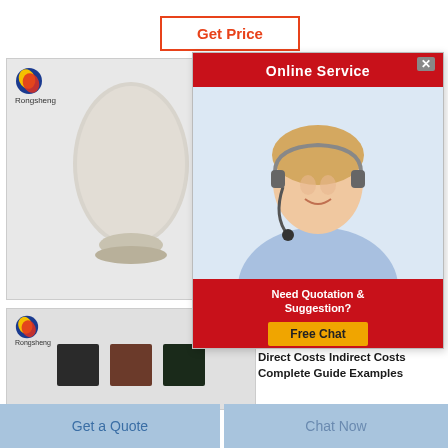Get Price
[Figure (photo): Product photo: white/cream powder in a rounded pedestal display form, with Rongsheng logo top-left]
[Figure (photo): Product photo: three small dark cube samples (black, brown, dark grey), with Rongsheng logo top-left]
Direct Costs Indirect Costs Complete Market
Direct consi
[Figure (screenshot): Online Service popup with red header, customer service agent photo, 'Need Quotation & Suggestion?' text and Free Chat button]
Direct Costs Indirect Costs Complete Guide Examples
Indirect costs or overheads are
Get a Quote
Chat Now